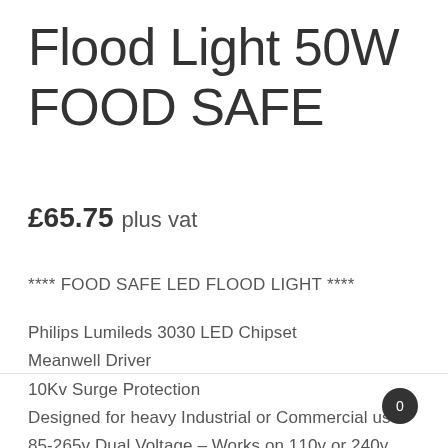Flood Light 50W FOOD SAFE
£65.75 plus vat
**** FOOD SAFE LED FLOOD LIGHT ****
Philips Lumileds 3030 LED Chipset
Meanwell Driver
10Kv Surge Protection
Designed for heavy Industrial or Commercial use
85-265v Dual Voltage – Works on 110v or 240v